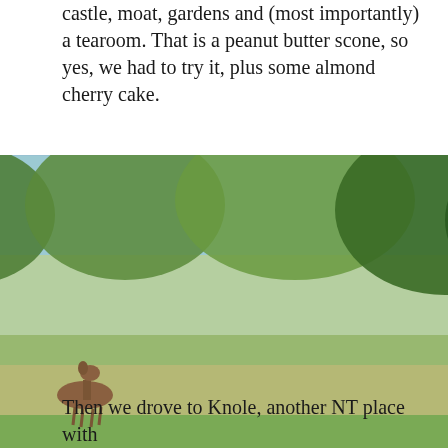castle, moat, gardens and (most importantly) a tearoom. That is a peanut butter scone, so yes, we had to try it, plus some almond cherry cake.
[Figure (photo): Three outdoor nature/park photos arranged in a grid: top photo shows a deer standing in a grassy field with trees in the background; bottom-left photo shows deer or animals in a green meadow with trees; bottom-right photo shows a path through trees with blue sky.]
Then we drove to Knole, another NT place with